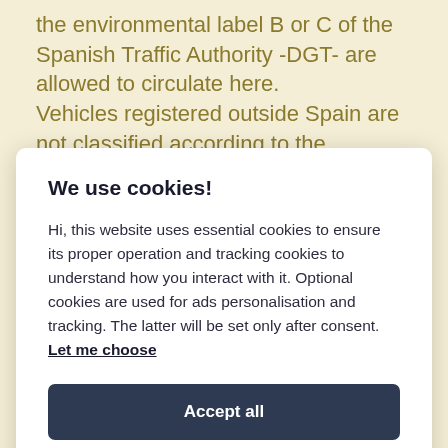the environmental label B or C of the Spanish Traffic Authority -DGT- are allowed to circulate here.
Vehicles registered outside Spain are not classified according to the environmental
We use cookies!
Hi, this website uses essential cookies to ensure its proper operation and tracking cookies to understand how you interact with it. Optional cookies are used for ads personalisation and tracking. The latter will be set only after consent. Let me choose
Accept all
Settings